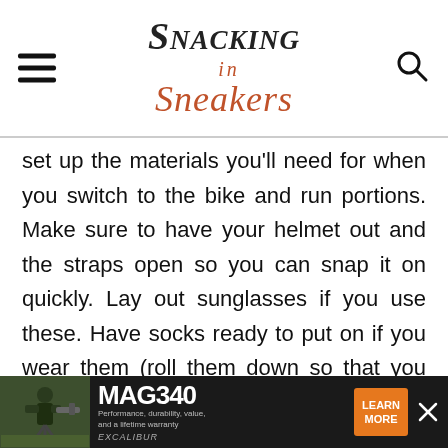Snacking in Sneakers
set up the materials you'll need for when you switch to the bike and run portions. Make sure to have your helmet out and the straps open so you can snap it on quickly. Lay out sunglasses if you use these. Have socks ready to put on if you wear them (roll them down so that you can roll them onto wet feet quickly). Have your sneakers ready with the
[Figure (screenshot): Advertisement bar for MAG340 product by Excalibur, showing a person with equipment, orange Learn More button, and close X button]